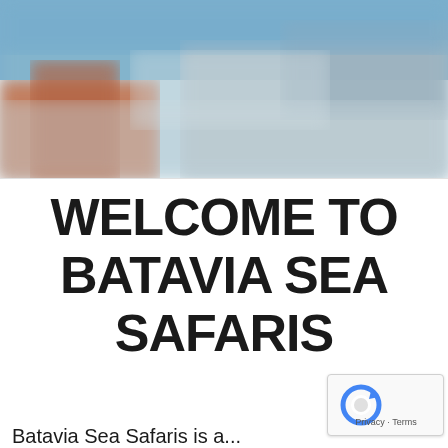[Figure (photo): Blurred outdoor photo with blue sky and buildings, appears to be a harbor or coastal scene with warm colors in the lower left]
WELCOME TO BATAVIA SEA SAFARIS
[Figure (logo): reCAPTCHA badge showing blue circular arrow icon with text 'Privacy - Terms']
Batavia Sea Safaris is a...